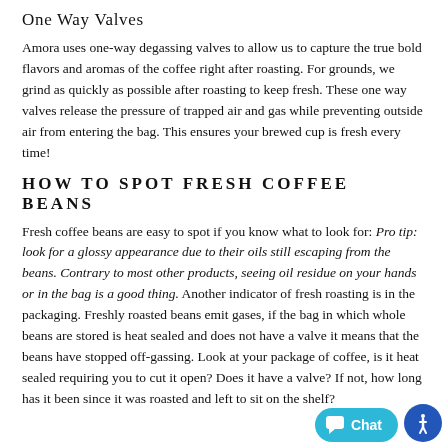One Way Valves
Amora uses one-way degassing valves to allow us to capture the true bold flavors and aromas of the coffee right after roasting. For grounds, we grind as quickly as possible after roasting to keep fresh. These one way valves release the pressure of trapped air and gas while preventing outside air from entering the bag. This ensures your brewed cup is fresh every time!
HOW TO SPOT FRESH COFFEE BEANS
Fresh coffee beans are easy to spot if you know what to look for: Pro tip: look for a glossy appearance due to their oils still escaping from the beans. Contrary to most other products, seeing oil residue on your hands or in the bag is a good thing. Another indicator of fresh roasting is in the packaging. Freshly roasted beans emit gases, if the bag in which whole beans are stored is heat sealed and does not have a valve it means that the beans have stopped off-gassing. Look at your package of coffee, is it heat sealed requiring you to cut it open? Does it have a valve? If not, how long has it been since it was roasted and left to sit on the shelf?